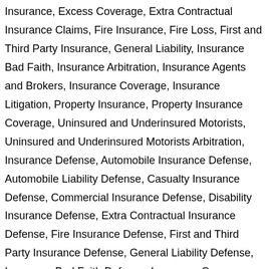Insurance, Excess Coverage, Extra Contractual Insurance Claims, Fire Insurance, Fire Loss, First and Third Party Insurance, General Liability, Insurance Bad Faith, Insurance Arbitration, Insurance Agents and Brokers, Insurance Coverage, Insurance Litigation, Property Insurance, Property Insurance Coverage, Uninsured and Underinsured Motorists, Uninsured and Underinsured Motorists Arbitration, Insurance Defense, Automobile Insurance Defense, Automobile Liability Defense, Casualty Insurance Defense, Commercial Insurance Defense, Disability Insurance Defense, Extra Contractual Insurance Defense, Fire Insurance Defense, First and Third Party Insurance Defense, General Liability Defense, Insurance Bad Faith Defense, Insurance Coverage Defense, Personal Liability Defense, Property Damage Defense, Property Insurance Defense, Civil Litigation, Litigation, Complex Litigation, Defense Litigation, Federal Civil Litigation, Trial Practice, Negligence, Negligence Defense, Personal Injury, Accidents, Bodily Injury, Automobile Accidents and Injuries, Motor Vehicle Accidents and Injuries, Personal Injury Appeals, Personal Injury Defense, Slip and Fall, Wrongful Death, Premises Liability, Premises Liability Defense, Products Liability, Products Liability Defense, Professional Liability, Professional...